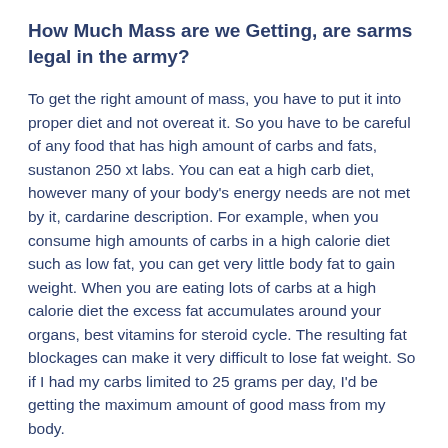How Much Mass are we Getting, are sarms legal in the army?
To get the right amount of mass, you have to put it into proper diet and not overeat it. So you have to be careful of any food that has high amount of carbs and fats, sustanon 250 xt labs. You can eat a high carb diet, however many of your body's energy needs are not met by it, cardarine description. For example, when you consume high amounts of carbs in a high calorie diet such as low fat, you can get very little body fat to gain weight. When you are eating lots of carbs at a high calorie diet the excess fat accumulates around your organs, best vitamins for steroid cycle. The resulting fat blockages can make it very difficult to lose fat weight. So if I had my carbs limited to 25 grams per day, I'd be getting the maximum amount of good mass from my body.